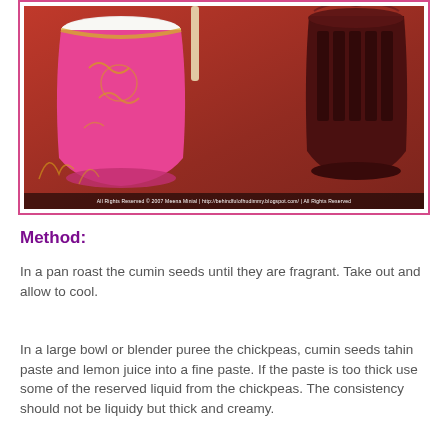[Figure (photo): Photo of two decorative cups/glasses on a red surface. The left cup is pink/magenta with gold ornamental designs and contains a white/cream beverage. The right cup is dark brown/maroon with ornate patterns. A small watermark caption bar appears at the bottom of the photo.]
Method:
In a pan roast the cumin seeds until they are fragrant. Take out and allow to cool.
In a large bowl or blender puree the chickpeas, cumin seeds tahin paste and lemon juice into a fine paste. If the paste is too thick use some of the reserved liquid from the chickpeas. The consistency should not be liquidy but thick and creamy.